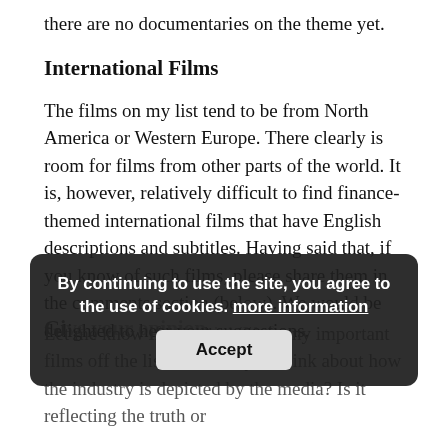there are no documentaries on the theme yet.
International Films
The films on my list tend to be from North America or Western Europe. There clearly is room for films from other parts of the world. It is, however, relatively difficult to find finance-themed international films that have English descriptions and subtitles. Having said that, if you know of such films, please share them in the comments section (below). We would be delighted to hear your suggestions.
By continuing to use the site, you agree to the use of cookies. more information
Accept
Give your opinion
Let me know if you think I left any important films off the list. What do you think about how the industry is depicted by the media? Is it reflecting the truth or